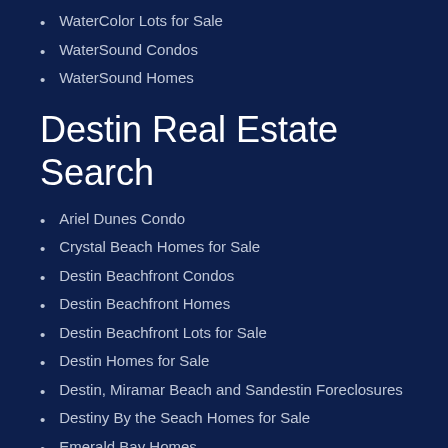WaterColor Lots for Sale
WaterSound Condos
WaterSound Homes
Destin Real Estate Search
Ariel Dunes Condo
Crystal Beach Homes for Sale
Destin Beachfront Condos
Destin Beachfront Homes
Destin Beachfront Lots for Sale
Destin Homes for Sale
Destin, Miramar Beach and Sandestin Foreclosures
Destiny By the Seach Homes for Sale
Emerald Bay Homes
Emerald Grand Condos Destin Harbor
Frangista Beach Homes in Destin
Holiday Isle Homes
Homes off Mack Bayou Dr